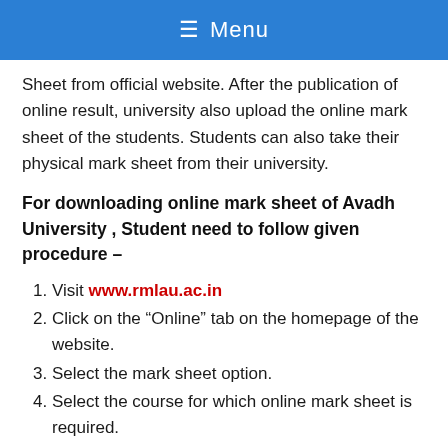≡ Menu
Sheet from official website. After the publication of online result, university also upload the online mark sheet of the students. Students can also take their physical mark sheet from their university.
For downloading online mark sheet of Avadh University , Student need to follow given procedure –
Visit www.rmlau.ac.in
Click on the “Online” tab on the homepage of the website.
Select the mark sheet option.
Select the course for which online mark sheet is required.